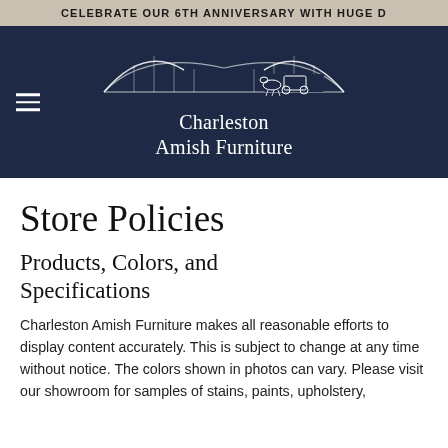CELEBRATE OUR 6TH ANNIVERSARY WITH HUGE D
[Figure (logo): Charleston Amish Furniture logo with bridge and horse-drawn carriage illustration on dark navy background, with hamburger menu icon on left]
Store Policies
Products, Colors, and Specifications
Charleston Amish Furniture makes all reasonable efforts to display content accurately. This is subject to change at any time without notice. The colors shown in photos can vary. Please visit our showroom for samples of stains, paints, upholstery,